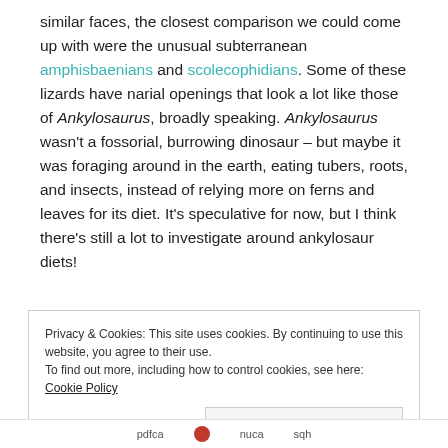similar faces, the closest comparison we could come up with were the unusual subterranean amphisbaenians and scolecophidians. Some of these lizards have narial openings that look a lot like those of Ankylosaurus, broadly speaking. Ankylosaurus wasn't a fossorial, burrowing dinosaur – but maybe it was foraging around in the earth, eating tubers, roots, and insects, instead of relying more on ferns and leaves for its diet. It's speculative for now, but I think there's still a lot to investigate around ankylosaur diets!
Privacy & Cookies: This site uses cookies. By continuing to use this website, you agree to their use.
To find out more, including how to control cookies, see here: Cookie Policy
pdfca  nuca  sqh